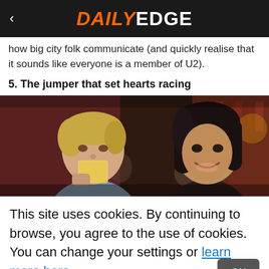DAILY EDGE
how big city folk communicate (and quickly realise that it sounds like everyone is a member of U2).
5. The jumper that set hearts racing
[Figure (photo): Two people in a bar or pub setting. A blonde man on the left drinking from a glass, a dark-haired woman on the right smiling.]
This site uses cookies. By continuing to browse, you agree to the use of cookies. You can change your settings or learn more here.